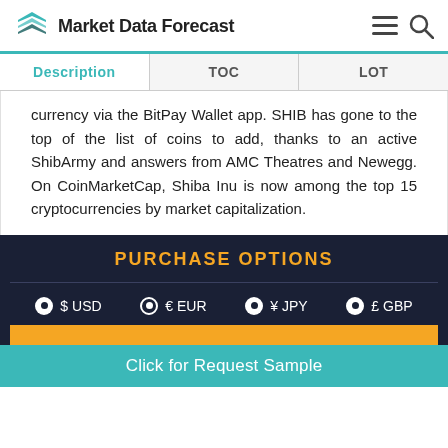Market Data Forecast
| Description | TOC | LOT |
| --- | --- | --- |
currency via the BitPay Wallet app. SHIB has gone to the top of the list of coins to add, thanks to an active ShibArmy and answers from AMC Theatres and Newegg. On CoinMarketCap, Shiba Inu is now among the top 15 cryptocurrencies by market capitalization.
PURCHASE OPTIONS
$ USD  € EUR  ¥ JPY  £ GBP
Click for Request Sample